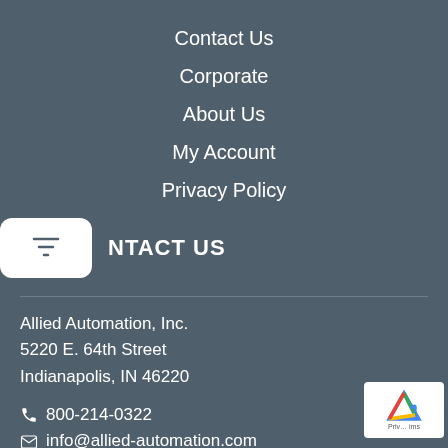Contact Us
Corporate
About Us
My Account
Privacy Policy
CONTACT US
Allied Automation, Inc.
5220 E. 64th Street
Indianapolis, IN 46220
800-214-0322
info@allied-automation.com